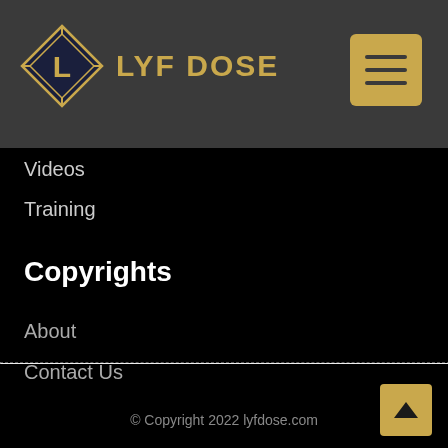LYF DOSE
Videos
Training
Copyrights
About
Contact Us
© Copyright 2022 lyfdose.com